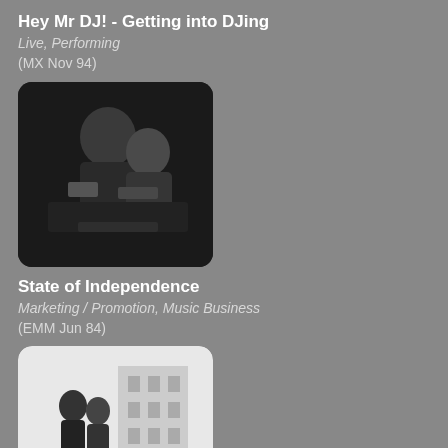Hey Mr DJ! - Getting into DJing
Live, Performing
(MX Nov 94)
[Figure (photo): Black and white photo of a DJ or performer at equipment]
State of Independence
Marketing / Promotion, Music Business
(EMM Jun 84)
[Figure (photo): Black and white photo of people on a street or urban scene]
Risky Business
Music Business
(IM Dec 86)
[Figure (photo): Partially visible image placeholder at bottom of page]